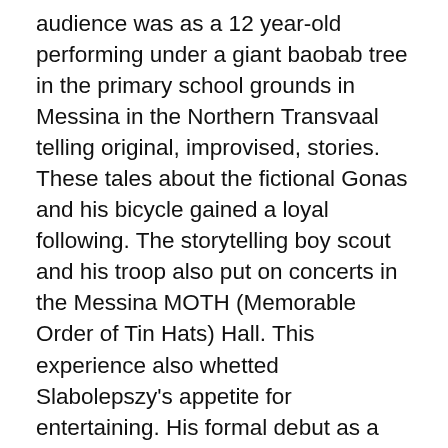audience was as a 12 year-old performing under a giant baobab tree in the primary school grounds in Messina in the Northern Transvaal telling original, improvised, stories. These tales about the fictional Gonas and his bicycle gained a loyal following. The storytelling boy scout and his troop also put on concerts in the Messina MOTH (Memorable Order of Tin Hats) Hall. This experience also whetted Slabolepszy's appetite for entertaining. His formal debut as a scribe was writing soccer reports about the school games at the College of the Little Flower in Pietersburg (now Polokwane), where he was a high school boarder.  The science teacher would post them on the laboratory window. When he was 16 and the Catholic boarding school was renamed Brothers of Charity College, he wrote reports on the Far Northern Transvaal Soccer League which were published in the Northern Review. His acting skills originated in “wildly enthusiastic” soccer commentaries which he recorded on an old, battered tape recorder while sitting on the tumbling mat